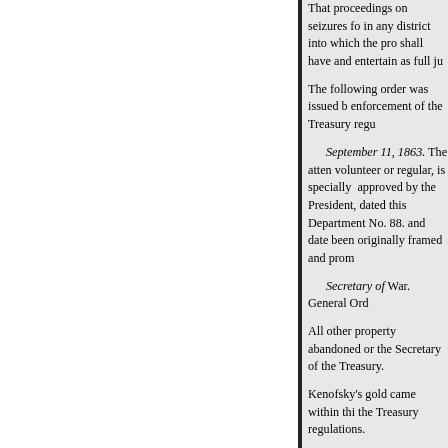That proceedings on seizures for in any district into which the pro shall have and entertain as full ju
The following order was issued b enforcement of the Treasury regu
September 11, 1863. The atten volunteer or regular, is specially approved by the President, dated this Department No. 88. and date been originally framed and prom
Secretary of War. General Ord
All other property abandoned or the Secretary of the Treasury.
Kenofsky's gold came within thi the Treasury regulations.
The claimant was diligent in pur ways open to him until the date o 1880. After his death his widow